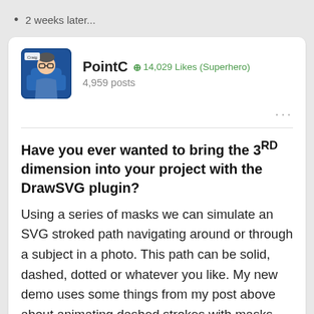2 weeks later...
PointC  14,029 Likes (Superhero)  4,959 posts
Have you ever wanted to bring the 3RD dimension into your project with the DrawSVG plugin? Using a series of masks we can simulate an SVG stroked path navigating around or through a subject in a photo. This path can be solid, dashed, dotted or whatever you like. My new demo uses some things from my post above about animating dashed strokes with masks, but goes a bit further.

Get wrapped up in the swirling 3D lines of the